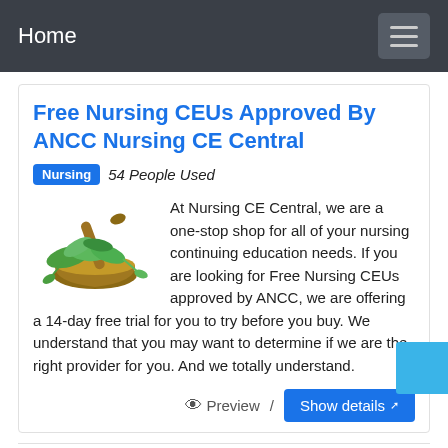Home
Free Nursing CEUs Approved By ANCC Nursing CE Central
Nursing  54 People Used
[Figure (photo): Mortar and pestle with green herbs and leaves]
At Nursing CE Central, we are a one-stop shop for all of your nursing continuing education needs. If you are looking for Free Nursing CEUs approved by ANCC, we are offering a 14-day free trial for you to try before you buy. We understand that you may want to determine if we are the right provider for you. And we totally understand.
Preview / Show details
Free Nursing CEUs Accredited CE